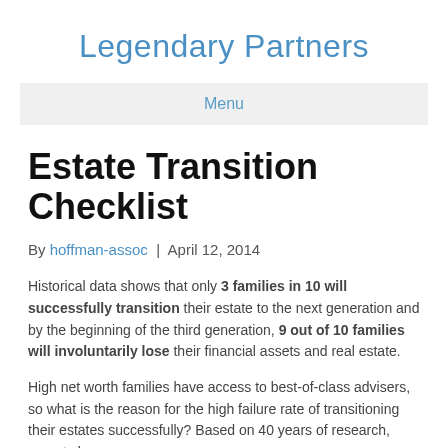Legendary Partners
Menu
Estate Transition Checklist
By hoffman-assoc | April 12, 2014
Historical data shows that only 3 families in 10 will successfully transition their estate to the next generation and by the beginning of the third generation, 9 out of 10 families will involuntarily lose their financial assets and real estate.
High net worth families have access to best-of-class advisers, so what is the reason for the high failure rate of transitioning their estates successfully? Based on 40 years of research, experts have